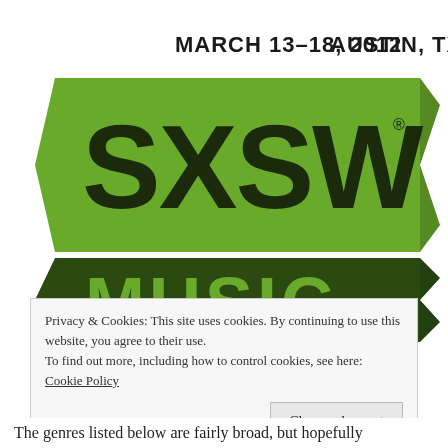[Figure (logo): SXSW Music logo with banner ribbons. Top text reads 'MARCH 13-18, 2012  AUSTIN, TX'. Large green ribbon banner with 'SXSW' in bold dark letters with registered trademark symbol. Below is a dark green banner with 'MUSIC' in large green letters.]
Privacy & Cookies: This site uses cookies. By continuing to use this website, you agree to their use.
To find out more, including how to control cookies, see here:
Cookie Policy
Close and accept
The genres listed below are fairly broad, but hopefully